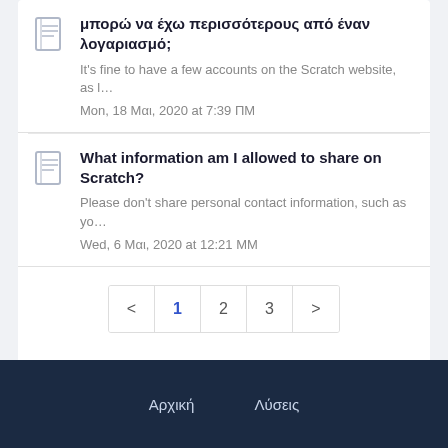μπορώ να έχω περισσότερους από έναν λογαριασμό;
It's fine to have a few accounts on the Scratch website, as l…
Mon, 18 Μαι, 2020 at 7:39 ΠΜ
What information am I allowed to share on Scratch?
Please don't share personal contact information, such as yo…
Wed, 6 Μαι, 2020 at 12:21 ΜΜ
< 1 2 3 >
Αρχική    Λύσεις